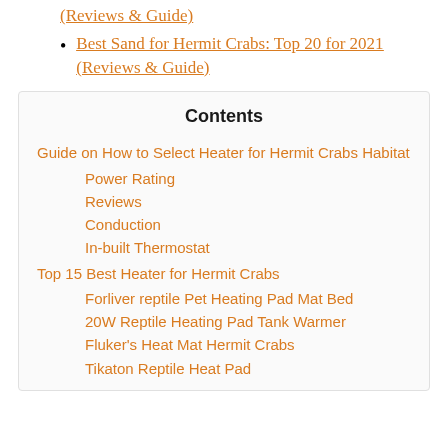(Reviews & Guide)
Best Sand for Hermit Crabs: Top 20 for 2021 (Reviews & Guide)
Contents
Guide on How to Select Heater for Hermit Crabs Habitat
Power Rating
Reviews
Conduction
In-built Thermostat
Top 15 Best Heater for Hermit Crabs
Forliver reptile Pet Heating Pad Mat Bed
20W Reptile Heating Pad Tank Warmer
Fluker's Heat Mat Hermit Crabs
Tikaton Reptile Heat Pad